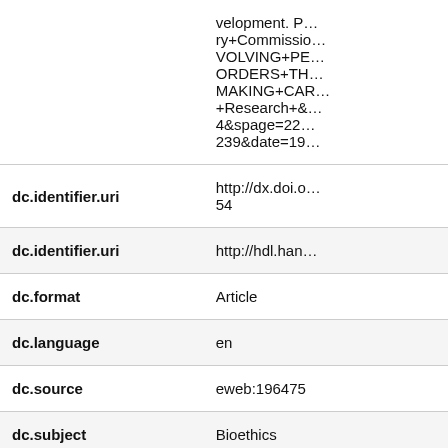| field | value |
| --- | --- |
|  | velopment. P…ry+Commission…VOLVING+PE…ORDERS+TH…MAKING+CAR…+Research+&…4&spage=22…239&date=19… |
| dc.identifier.uri | http://dx.doi.o…54 |
| dc.identifier.uri | http://hdl.han… |
| dc.format | Article |
| dc.language | en |
| dc.source | eweb:196475 |
| dc.subject | Bioethics |
| dc.subject | Mental Disord… |